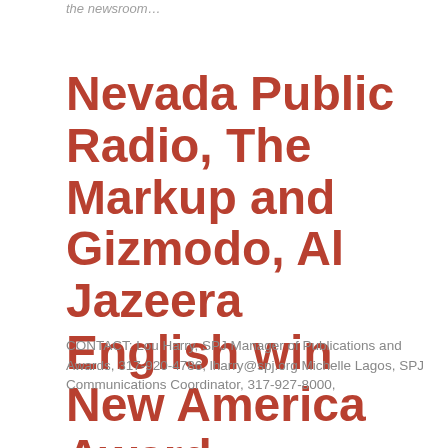the newsroom…
Nevada Public Radio, The Markup and Gizmodo, Al Jazeera English win New America Award
CONTACT: Lou Harry, SPJ Manager of Publications and Awards, 317-920-4786, lharry@spj.org Michelle Lagos, SPJ Communications Coordinator, 317-927-8000,